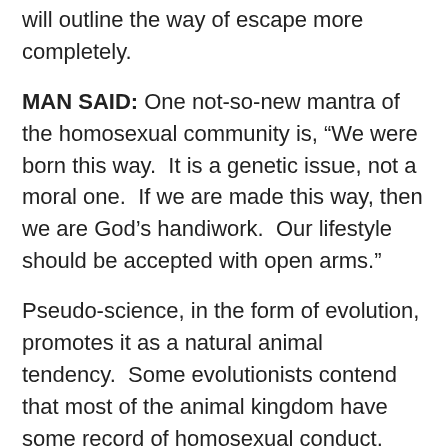will outline the way of escape more completely.
MAN SAID: One not-so-new mantra of the homosexual community is, “We were born this way.  It is a genetic issue, not a moral one.  If we are made this way, then we are God’s handiwork.  Our lifestyle should be accepted with open arms.”
Pseudo-science, in the form of evolution, promotes it as a natural animal tendency.  Some evolutionists contend that most of the animal kingdom have some record of homosexual conduct.  Therefore, they say, it is natural for man to participate in homosexuality, because man is simply an animal at the highest level of the evolutionary chain.
Now THE RECORD.  Are homosexuals born that